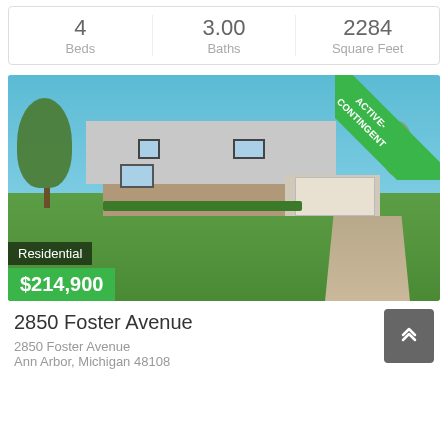| Beds | Baths | Square Feet |
| --- | --- | --- |
| 4 | 3.00 | 2284 |
[Figure (photo): Exterior photo of a two-story residential home at 2850 Foster Avenue, Ann Arbor, Michigan with green lawn and trees. Green ACTIVE-CONTINGENT banner in top right corner. 'Residential' label and '$214,900' price banner overlaid on the photo.]
2850 Foster Avenue
2850 Foster Avenue
Ann Arbor, Michigan 48108